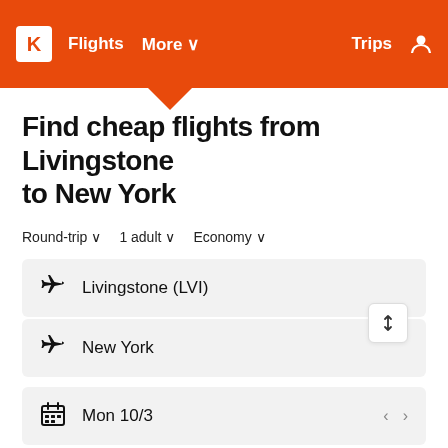K | Flights | More | Trips
Find cheap flights from Livingstone to New York
Round-trip  1 adult  Economy
Livingstone (LVI)
New York
Mon 10/3
Mon 10/10